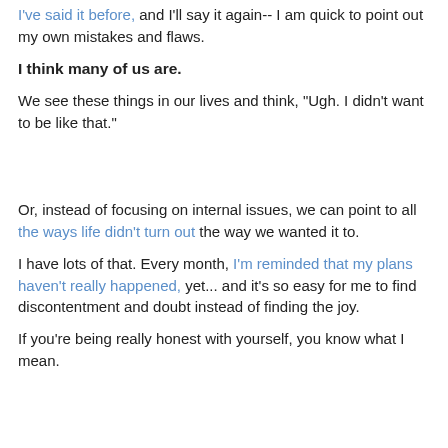I've said it before, and I'll say it again-- I am quick to point out my own mistakes and flaws.
I think many of us are.
We see these things in our lives and think, "Ugh. I didn't want to be like that."
Or, instead of focusing on internal issues, we can point to all the ways life didn't turn out the way we wanted it to.
I have lots of that. Every month, I'm reminded that my plans haven't really happened, yet... and it's so easy for me to find discontentment and doubt instead of finding the joy.
If you're being really honest with yourself, you know what I mean.